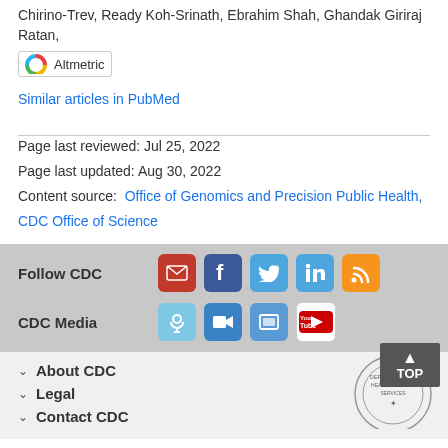Chirino-Trev, Ready Koh-Srinath, Ebrahim Shah, Ghandak Giriraj Ratan,
[Figure (other): Altmetric badge widget with colorful donut icon and text 'Altmetric']
Similar articles in PubMed
Page last reviewed: Jul 25, 2022
Page last updated: Aug 30, 2022
Content source: Office of Genomics and Precision Public Health, CDC Office of Science
Follow CDC
[Figure (other): Social media icons: email/newsletter (red), Facebook (blue), Twitter (blue), LinkedIn (blue), RSS (orange)]
CDC Media
[Figure (other): Media icons: podcast/headphones (light blue), video camera (blue), slideshow (blue), YouTube (red/white)]
About CDC
Legal
Contact CDC
[Figure (other): HHS seal / Department of Health and Human Services circular stamp logo, partially visible]
[Figure (other): TOP button - dark grey button with upward arrow and text TOP]